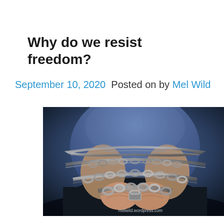Why do we resist freedom?
September 10, 2020  Posted on by Mel Wild
[Figure (photo): A person in a blue shirt with hands bound by metal chains, photographed from the torso down against a dark background. Watermark reads melwild.wordpress.com]